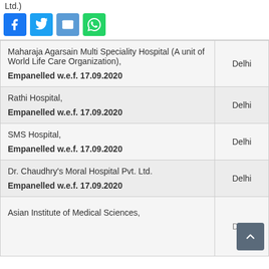Ltd.)
[Figure (infographic): Social media share buttons: Facebook, Twitter, Email, WhatsApp]
| Hospital Name | City |
| --- | --- |
| Maharaja Agarsain Multi Speciality Hospital (A unit of World Life Care Organization), Empanelled w.e.f. 17.09.2020 | Delhi |
| Rathi Hospital, Empanelled w.e.f. 17.09.2020 | Delhi |
| SMS Hospital, Empanelled w.e.f. 17.09.2020 | Delhi |
| Dr. Chaudhry's Moral Hospital Pvt. Ltd. Empanelled w.e.f. 17.09.2020 | Delhi |
| Asian Institute of Medical Sciences, | Delhi |